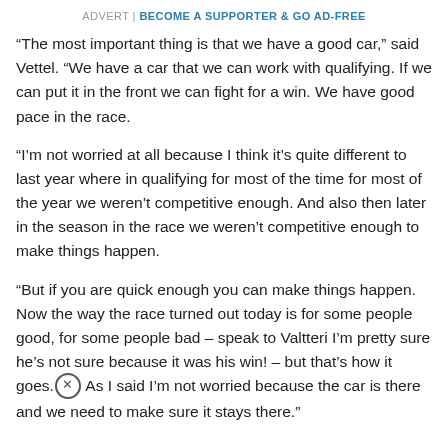ADVERT | BECOME A SUPPORTER & GO AD-FREE
“The most important thing is that we have a good car,” said Vettel. “We have a car that we can work with qualifying. If we can put it in the front we can fight for a win. We have good pace in the race.
“I’m not worried at all because I think it’s quite different to last year where in qualifying for most of the time for most of the year we weren’t competitive enough. And also then later in the season in the race we weren’t competitive enough to make things happen.
“But if you are quick enough you can make things happen. Now the way the race turned out today is for some people good, for some people bad – speak to Valtteri I’m pretty sure he’s not sure because it was his win! – but that’s how it goes. As I said I’m not worried because the car is there and we need to make sure it stays there.”